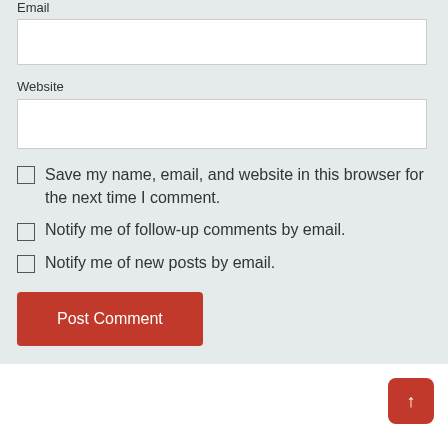Email
Website
Save my name, email, and website in this browser for the next time I comment.
Notify me of follow-up comments by email.
Notify me of new posts by email.
Post Comment
Get Help With